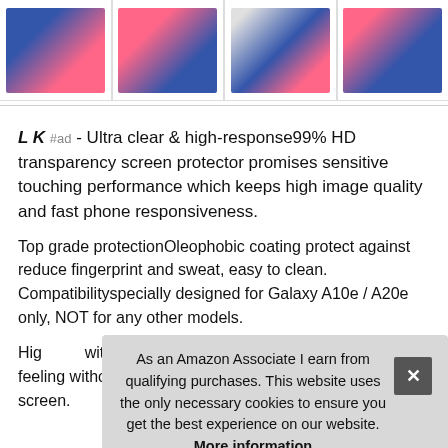[Figure (photo): Four product thumbnail images of phone screen protectors for Samsung Galaxy A10e/A20e, showing the product from different angles and with feature icons.]
L K #ad - Ultra clear & high-response99% HD transparency screen protector promises sensitive touching performance which keeps high image quality and fast phone responsiveness.
Top grade protectionOleophobic coating protect against reduce fingerprint and sweat, easy to clean. Compatibilityspecially designed for Galaxy A10e / A20e only, NOT for any other models.
As an Amazon Associate I earn from qualifying purchases. This website uses the only necessary cookies to ensure you get the best experience on our website. More information
High ... with ... feeling without any interference. Perfect alignment the screen.